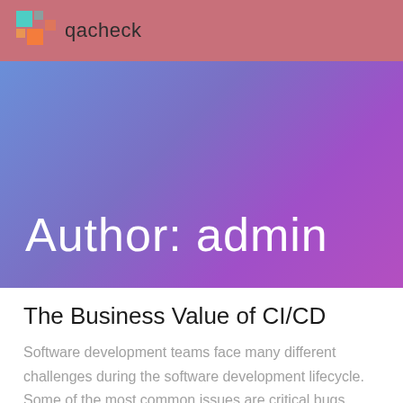qacheck
Author: admin
The Business Value of CI/CD
Software development teams face many different challenges during the software development lifecycle. Some of the most common issues are critical bugs